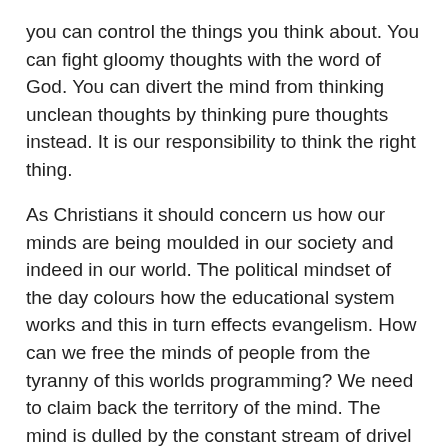you can control the things you think about. You can fight gloomy thoughts with the word of God. You can divert the mind from thinking unclean thoughts by thinking pure thoughts instead. It is our responsibility to think the right thing.
As Christians it should concern us how our minds are being moulded in our society and indeed in our world. The political mindset of the day colours how the educational system works and this in turn effects evangelism. How can we free the minds of people from the tyranny of this worlds programming? We need to claim back the territory of the mind. The mind is dulled by the constant stream of drivel which we hear every day incessantly from any number of sources. As Christians we should be influencing the world around about us, and the people in our lives, to think.
The Artist: